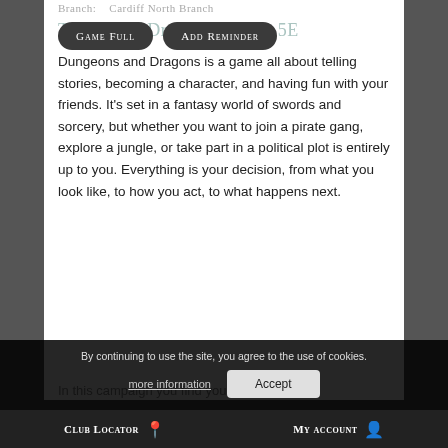Branch:    Cardiff North Branch
Game Full | Add Reminder
Tyranny of Dragons – D&D 5E
Dungeons and Dragons is a game all about telling stories, becoming a character, and having fun with your friends. It's set in a fantasy world of swords and sorcery, but whether you want to join a pirate gang, explore a jungle, or take part in a political plot is entirely up to you. Everything is your decision, from what you look like, to how you act, to what happens next.
In this campaign you find yourself at the
By continuing to use the site, you agree to the use of cookies.
more information
Accept
Club Locator  My account